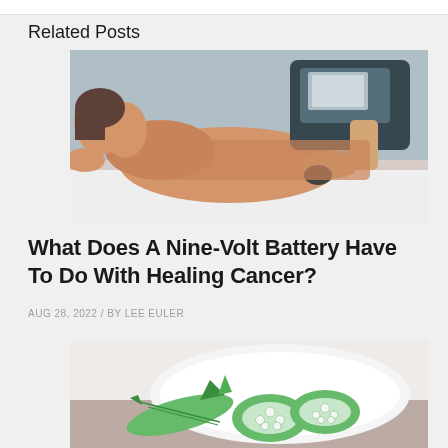Related Posts
[Figure (photo): A woman lying face-down receiving a massage or therapy treatment on her back with a device, performed by a practitioner's hands.]
What Does A Nine-Volt Battery Have To Do With Healing Cancer?
AUG 28, 2022 / BY LEE EULER
[Figure (photo): Close-up of okra (lady's finger) vegetables cut in half on a white plate, showing seeds inside, on a wooden surface.]